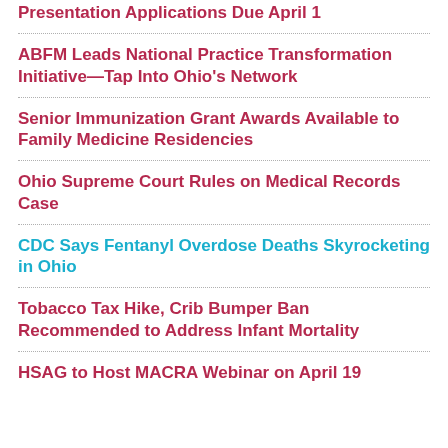Presentation Applications Due April 1
ABFM Leads National Practice Transformation Initiative—Tap Into Ohio's Network
Senior Immunization Grant Awards Available to Family Medicine Residencies
Ohio Supreme Court Rules on Medical Records Case
CDC Says Fentanyl Overdose Deaths Skyrocketing in Ohio
Tobacco Tax Hike, Crib Bumper Ban Recommended to Address Infant Mortality
HSAG to Host MACRA Webinar on April 19